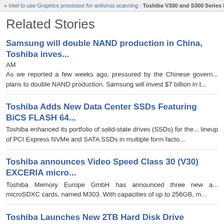« Intel to use Graphics processor for antivirus scanning · Toshiba V300 and S300 Series Hard Dr...
Related Stories
Samsung will double NAND production in China, Toshiba inves...
AM
As we reported a few weeks ago, pressured by the Chinese govern... plans to double NAND production. Samsung will invest $7 billion in t...
Toshiba Adds New Data Center SSDs Featuring BiCS FLASH 64...
Toshiba enhanced its portfolio of solid-state drives (SSDs) for the... lineup of PCI Express NVMe and SATA SSDs in multiple form facto...
Toshiba announces Video Speed Class 30 (V30) EXCERIA micro...
Toshiba Memory Europe GmbH has announced three new a... microSDXC cards, named M303. With capacities of up to 256GB, m...
Toshiba Launches New 2TB Hard Disk Drive (MQ04ABD200...
09:29 AM
Toshiba America Electronic Components, Inc. (TAEC), a committ... Series 2TB HDD model MQ04ABD200, designed for use in noteboo...
Toshiba Reveals Fresh, Unified Canvio Portable Hard Drive Mo...
Toshiba announces the latest additions to its line of portable hard...